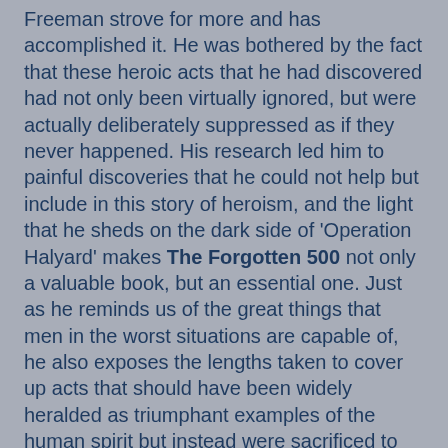Freeman strove for more and has accomplished it. He was bothered by the fact that these heroic acts that he had discovered had not only been virtually ignored, but were actually deliberately suppressed as if they never happened. His research led him to painful discoveries that he could not help but include in this story of heroism, and the light that he sheds on the dark side of 'Operation Halyard' makes The Forgotten 500 not only a valuable book, but an essential one. Just as he reminds us of the great things that men in the worst situations are capable of, he also exposes the lengths taken to cover up acts that should have been widely heralded as triumphant examples of the human spirit but instead were sacrificed to the manipulations of political expediency. We owe both the dead and the living to move, once and for all, 'Operation Halyard', possibly the greatest rescue of American lives from behind enemy lines in the history of warfare, from being a mere footnote in history to being a shining example of what men of integrity are capable of. Mr. Freeman, with The Forgotten 500, is paying the long overdue debt.
During the second half of World War Two, hundreds of